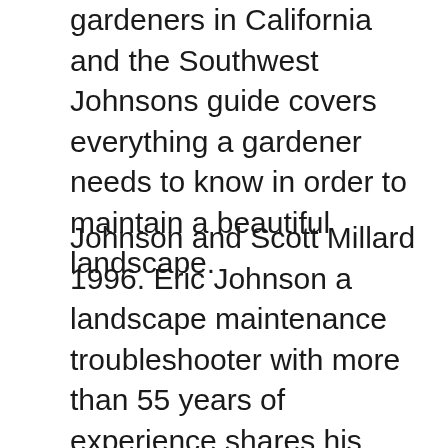gardeners in California and the Southwest Johnsons guide covers everything a gardener needs to know in order to maintain a beautiful landscape.
Johnson and Scott Millard 1996. Eric Johnson a landscape maintenance troubleshooter with more than 55 years of experience shares his insights on plant care. Eric Johnson a landscape maintenance troubleshooter with more than 55 years of experience shares his insights on plant care.
The most important part of lilac care is pruning. Eric Johnson a landscape maintenance troubleshooter with more than 55 years of experience shares his insights on plant care. Established in the ground at least